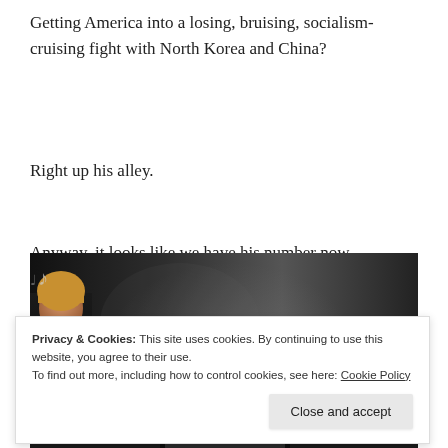Getting America into a losing, bruising, socialism-cruising fight with North Korea and China?
Right up his alley.
Anyway, it looks like we have his number now.
Enjoy the show.
W
[Figure (screenshot): YouTube video thumbnail showing a person with blonde hair on the left and the text 'Black Sabbath ~ War Pigs' on a dark background, with a three-dot menu icon on the right.]
Privacy & Cookies: This site uses cookies. By continuing to use this website, you agree to their use.
To find out more, including how to control cookies, see here: Cookie Policy
Close and accept